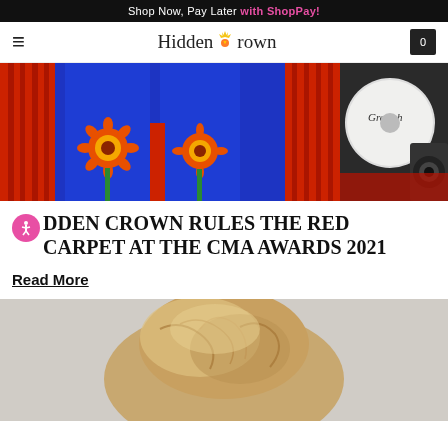Shop Now, Pay Later with ShopPay!
HiddenCrown navigation bar with hamburger menu and cart
[Figure (photo): Close-up of person wearing blue pants with orange sunflower embroidery and red fringe, with a drum kit in the background]
HIDDEN CROWN RULES THE RED CARPET AT THE CMA AWARDS 2021
Read More
[Figure (photo): Close-up of a blonde hair updo/bun hairstyle against a light gray background]